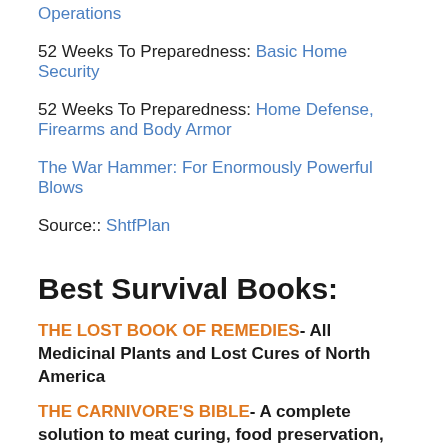Operations
52 Weeks To Preparedness: Basic Home Security
52 Weeks To Preparedness: Home Defense, Firearms and Body Armor
The War Hammer: For Enormously Powerful Blows
Source:: ShtfPlan
Best Survival Books:
THE LOST BOOK OF REMEDIES- All Medicinal Plants and Lost Cures of North America
THE CARNIVORE'S BIBLE- A complete solution to meat curing, food preservation, storage and cooking and it will change your life for the better